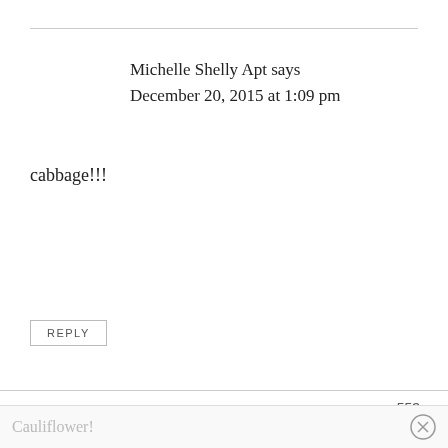Michelle Shelly Apt says
December 20, 2015 at 1:09 pm
cabbage!!!
REPLY
553
[Figure (photo): Profile photo of Angela Watkins, a woman smiling]
Angela Watkins says
December 19, 2015 at 3:15 pm
Cauliflower!